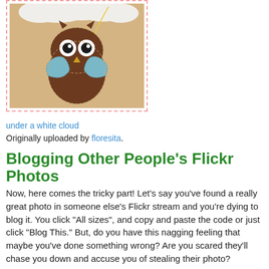[Figure (photo): A handmade felt owl ornament with blue wings and googly eyes, sitting against a white fluffy cloud background, displayed with a pink dashed border]
under a white cloud
Originally uploaded by floresita.
Blogging Other People's Flickr Photos
Now, here comes the tricky part! Let's say you've found a really great photo in someone else's Flickr stream and you're dying to blog it. You click "All sizes", and copy and paste the code or just click "Blog This." But, do you have this nagging feeling that maybe you've done something wrong? Are you scared they'll chase you down and accuse you of stealing their photo?
Photo Blogging "Nettiquette": Is Blogging Stealing?
Most people view it as a compliment when someone blogs their photo, and are flattered. But be aware that not everyone